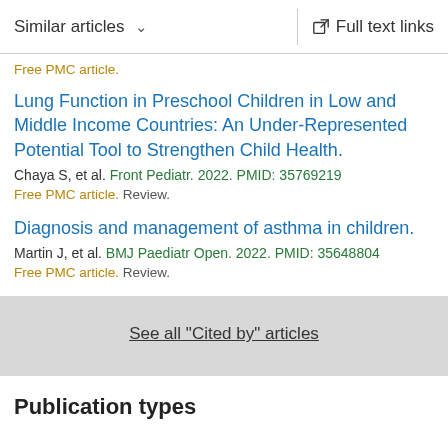Similar articles  ∨   Full text links
Free PMC article.
Lung Function in Preschool Children in Low and Middle Income Countries: An Under-Represented Potential Tool to Strengthen Child Health.
Chaya S, et al. Front Pediatr. 2022. PMID: 35769219
Free PMC article. Review.
Diagnosis and management of asthma in children.
Martin J, et al. BMJ Paediatr Open. 2022. PMID: 35648804
Free PMC article. Review.
See all "Cited by" articles
Publication types